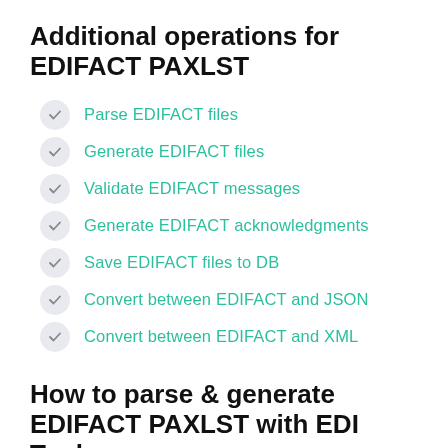Additional operations for EDIFACT PAXLST
Parse EDIFACT files
Generate EDIFACT files
Validate EDIFACT messages
Generate EDIFACT acknowledgments
Save EDIFACT files to DB
Convert between EDIFACT and JSON
Convert between EDIFACT and XML
How to parse & generate EDIFACT PAXLST with EDI Tools for .NET